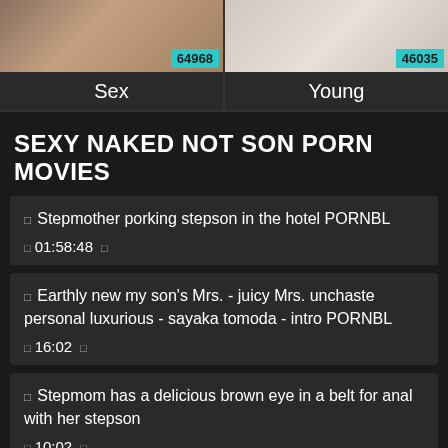[Figure (screenshot): Two category thumbnail cells side by side: left cell shows a skin-toned image with badge '64968' and label 'Sex'; right cell shows a light-colored image with badge '46035' and label 'Young']
SEXY NAKED NOT SON PORN MOVIES
Stepmother porking stepson in the hotel PORNBL
01:58:48
Earthly new my son's Mrs. - juicy Mrs. unchaste personal luxurious - sayaka tomoda - intro PORNBL
16:02
Stepmom has a delicious brown eye in a belt for anal with her stepson
10:02